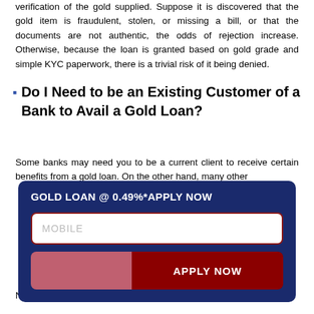verification of the gold supplied. Suppose it is discovered that the gold item is fraudulent, stolen, or missing a bill, or that the documents are not authentic, the odds of rejection increase. Otherwise, because the loan is granted based on gold grade and simple KYC paperwork, there is a trivial risk of it being denied.
Do I Need to be an Existing Customer of a Bank to Avail a Gold Loan?
Some banks may need you to be a current client to receive certain benefits from a gold loan. On the other hand, many other
[Figure (other): Dark navy blue popup/banner overlay showing a gold loan advertisement. Contains bold white text 'GOLD LOAN @ 0.49%*APPLY NOW', a white input field with placeholder 'MOBILE', and a red 'APPLY NOW' button.]
No, a guarantor is not needed for a gold loan. In the case of a